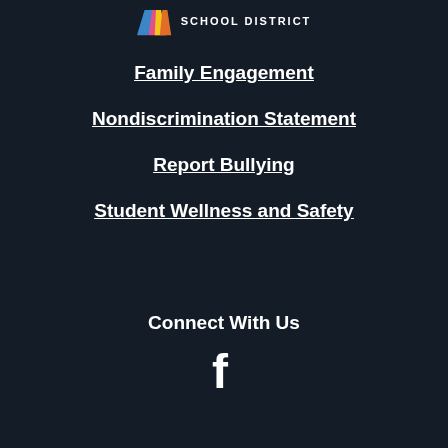[Figure (logo): School district logo with colorful arrow/chevron icon and text 'SCHOOL DISTRICT']
Family Engagement
Nondiscrimination Statement
Report Bullying
Student Wellness and Safety
Connect With Us
[Figure (other): Facebook logo icon in white]